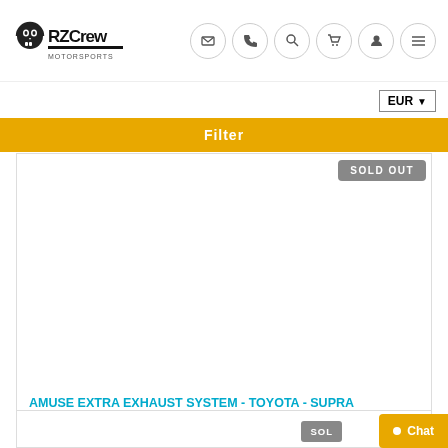RZCrew - navigation header with logo and icons
EUR
Filter
SOLD OUT
[Figure (screenshot): Empty product image area for automotive exhaust product]
AMUSE EXTRA EXHAUST SYSTEM - TOYOTA - SUPRA JZA80(T)VVT
€2609,50 EUR
SOL... Chat